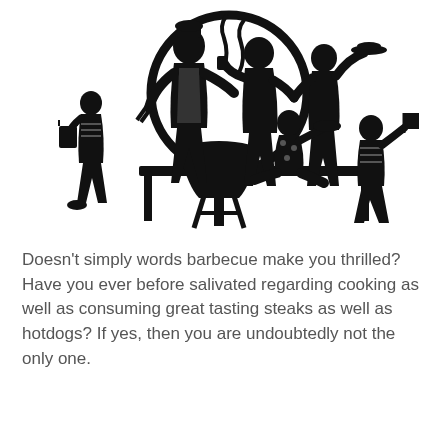[Figure (illustration): Black silhouette illustration of a barbecue scene with several people gathered around a grill. Includes a chef with an apron and tongs, people holding drinks and food, a child walking, a person sitting, and others socializing. A large circular shape (sun or decorative element) is in the background.]
Doesn't simply words barbecue make you thrilled? Have you ever before salivated regarding cooking as well as consuming great tasting steaks as well as hotdogs? If yes, then you are undoubtedly not the only one.